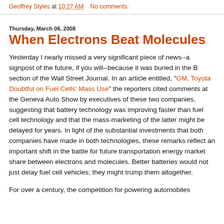Geoffrey Styles at 10:27 AM   No comments:
Thursday, March 06, 2008
When Electrons Beat Molecules
Yesterday I nearly missed a very significant piece of news--a signpost of the future, if you will--because it was buried in the B section of the Wall Street Journal. In an article entitled, "GM, Toyota Doubtful on Fuel Cells' Mass Use" the reporters cited comments at the Geneva Auto Show by executives of these two companies, suggesting that battery technology was improving faster than fuel cell technology and that the mass-marketing of the latter might be delayed for years. In light of the substantial investments that both companies have made in both technologies, these remarks reflect an important shift in the battle for future transportation energy market share between electrons and molecules. Better batteries would not just delay fuel cell vehicles; they might trump them altogether.
For over a century, the competition for powering automobiles